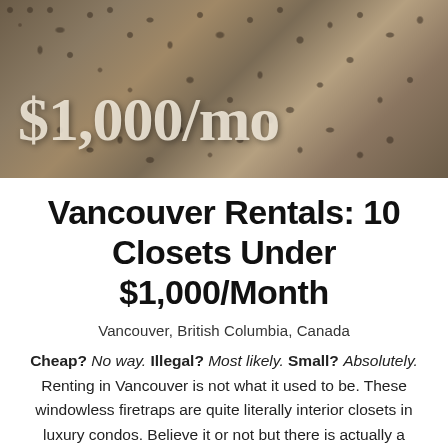[Figure (photo): Photo of a dark lace fabric garment on a warm-toned background with white bold text overlay reading '$1,000/mo']
Vancouver Rentals: 10 Closets Under $1,000/Month
Vancouver, British Columbia, Canada
Cheap? No way. Illegal? Most likely. Small? Absolutely. Renting in Vancouver is not what it used to be. These windowless firetraps are quite literally interior closets in luxury condos. Believe it or not but there is actually a sizeable market for these less than spacious and somewhat dingy rooms. These listings are proof that renting in the big city is just as difficult as owning. We've found ten closets to rent in Vancouver ranging in price from $460 to $1,000